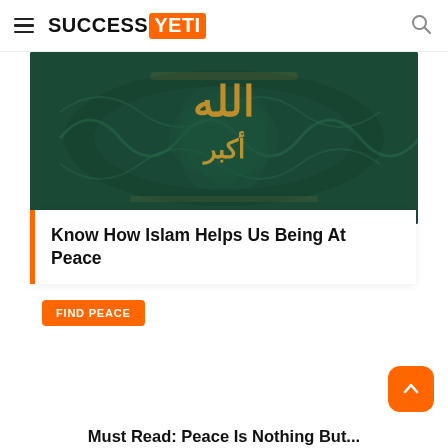SUCCESS YETI
[Figure (illustration): Dark green Arabic calligraphy artwork with golden text on ornate dark green background]
Know How Islam Helps Us Being At Peace
FIND PEACE
Must Read: Peace Is Nothing But...